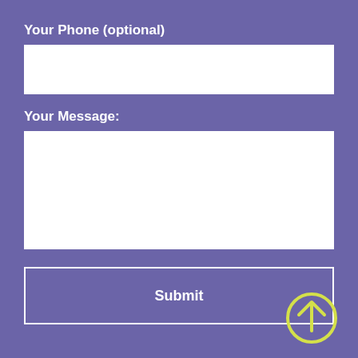Your Phone (optional)
[Figure (other): White input text field for phone number]
Your Message:
[Figure (other): White textarea field for message]
[Figure (other): Submit button with white border and text 'Submit', with a yellow/lime circle up-arrow icon in the bottom-right corner]